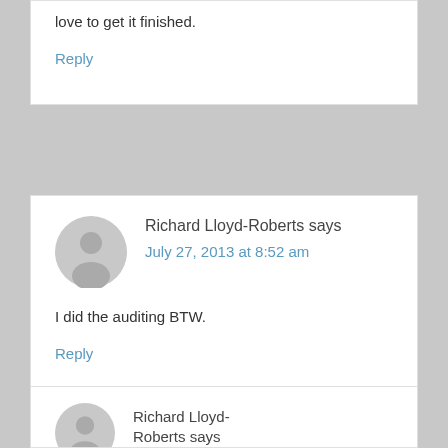love to get it finished.
Reply
Richard Lloyd-Roberts says
July 27, 2013 at 8:52 am
I did the auditing BTW.
Reply
Richard Lloyd-Roberts says